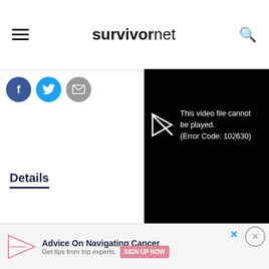survivornet — site navigation header with hamburger menu and search icon
[Figure (screenshot): Social share buttons: Facebook (blue circle), Twitter (light blue circle), Email (grey circle)]
Details
Trusting
Gina [text cut off]
had s[text cut off]
hospi[text cut off]
[Figure (screenshot): Video player showing error: This video file cannot be played. (Error Code: 102630) with a broken play icon on black background]
two years before finding out it was
[Figure (screenshot): Watch Now button (pink/rose colored) with play triangle icon, and Close button with X circle]
[Figure (screenshot): Advertisement banner: paper plane icon, 'Advice On Navigating Cancer', 'Get tips from top experts.', SIGN UP NOW button, X close icon and circle X button]